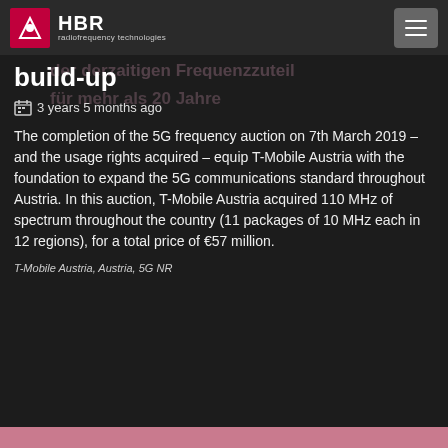HBR radiofrequency technologies
build-up
3 years 5 months ago
The completion of the 5G frequency auction on 7th March 2019 – and the usage rights acquired – equip T-Mobile Austria with the foundation to expand the 5G communications standard throughout Austria. In this auction, T-Mobile Austria acquired 110 MHz of spectrum throughout the country (11 packages of 10 MHz each in 12 regions), for a total price of €57 million.
T-Mobile Austria, Austria, 5G NR
A1 makes Gmünd the first 5G city in